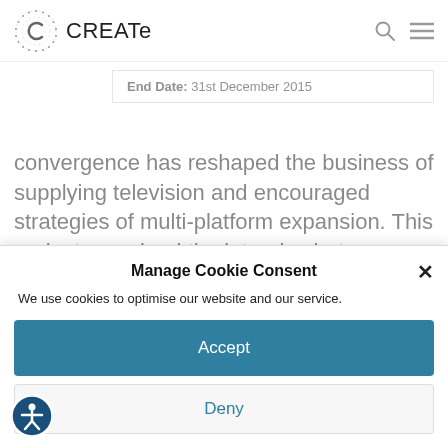CREATe
| End Date: | 31st December 2015 |
convergence has reshaped the business of supplying television and encouraged strategies of multi-platform expansion. This project examined the interplay between
Manage Cookie Consent
We use cookies to optimise our website and our service.
Accept
Deny